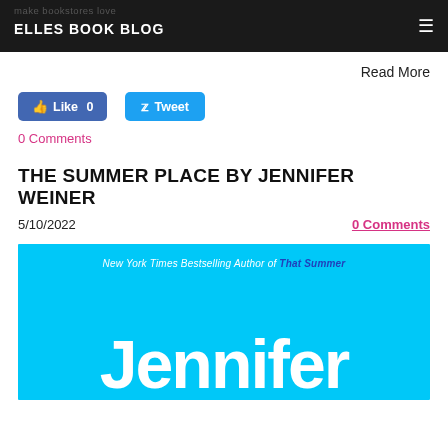ELLES BOOK BLOG
Read More
[Figure (other): Facebook Like button showing 'Like 0' and Twitter Tweet button]
0 Comments
THE SUMMER PLACE BY JENNIFER WEINER
5/10/2022    0 Comments
[Figure (illustration): Book cover for 'The Summer Place' by Jennifer Weiner. Cyan/blue background with white text reading 'Jennifer' in large letters. Subtitle reads 'New York Times Bestselling Author of That Summer'.]